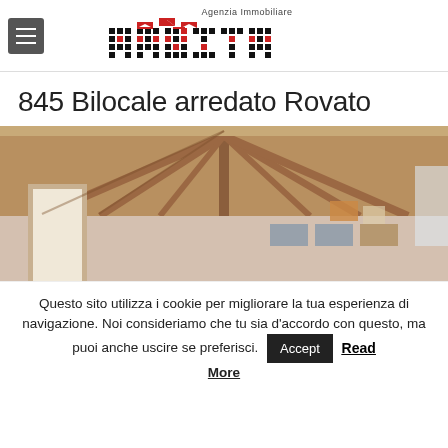Agenzia Immobiliare HABITAT
845 Bilocale arredato Rovato
[Figure (photo): Interior photo of a room with exposed wooden beam ceiling in a triangular/vaulted style, beige/pink walls, doorway on the left, decorative windows and artworks on the far wall]
Questo sito utilizza i cookie per migliorare la tua esperienza di navigazione. Noi consideriamo che tu sia d'accordo con questo, ma puoi anche uscire se preferisci. Accept Read More